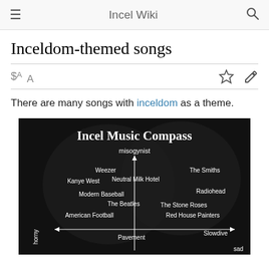Incel Wiki
Inceldom-themed songs
There are many songs with inceldom as a theme.
[Figure (infographic): Incel Music Compass — a dark-background chart with artist names placed on a two-axis compass. Vertical axis: misogynist (top) to (bottom). Horizontal axis: horny (left) to sad (right). Artists shown: Weezer, Kanye West, Neutral Milk Hotel, The Smiths, Modern Baseball, The Beatles, Radiohead, The Stone Roses, American Football, Red House Painters, Pavement, Slowdive.]